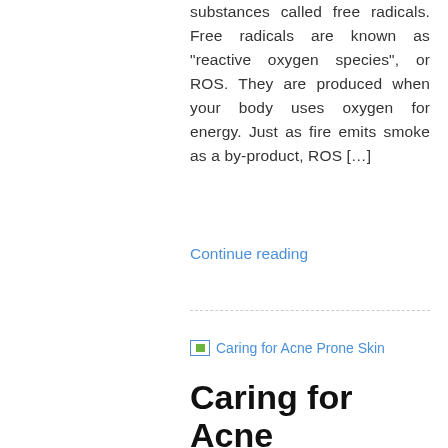substances called free radicals. Free radicals are known as "reactive oxygen species", or ROS. They are produced when your body uses oxygen for energy. Just as fire emits smoke as a by-product, ROS […]
Continue reading
[Figure (other): Broken image placeholder for 'Caring for Acne Prone Skin']
Caring for Acne Prone Skin –